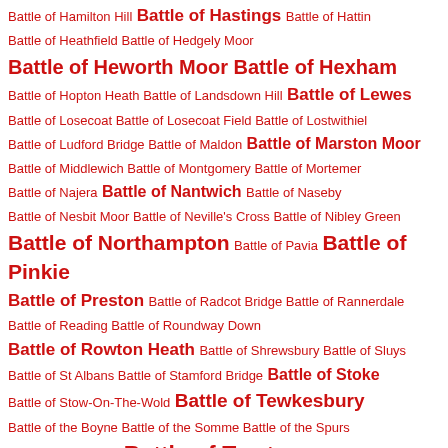Battle of Hamilton Hill  Battle of Hastings  Battle of Hattin
Battle of Heathfield  Battle of Hedgely Moor
Battle of Heworth Moor  Battle of Hexham
Battle of Hopton Heath  Battle of Landsdown Hill  Battle of Lewes
Battle of Losecoat  Battle of Losecoat Field  Battle of Lostwithiel
Battle of Ludford Bridge  Battle of Maldon  Battle of Marston Moor
Battle of Middlewich  Battle of Montgomery  Battle of Mortemer
Battle of Najera  Battle of Nantwich  Battle of Naseby
Battle of Nesbit Moor  Battle of Neville's Cross  Battle of Nibley Green
Battle of Northampton  Battle of Pavia  Battle of Pinkie
Battle of Preston  Battle of Radcot Bridge  Battle of Rannerdale
Battle of Reading  Battle of Roundway Down
Battle of Rowton Heath  Battle of Shrewsbury  Battle of Sluys
Battle of St Albans  Battle of Stamford Bridge  Battle of Stoke
Battle of Stow-On-The-Wold  Battle of Tewkesbury
Battle of the Boyne  Battle of the Somme  Battle of the Spurs
Battle of Tinchebrai  Battle of Towton
Battle of Wakefield